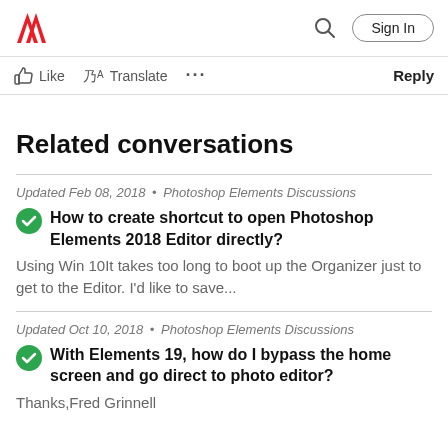Adobe | Sign In
Like  Translate  ...  Reply
Related conversations
Updated Feb 08, 2018 • Photoshop Elements Discussions
How to create shortcut to open Photoshop Elements 2018 Editor directly?
Using Win 10It takes too long to boot up the Organizer just to get to the Editor.   I'd like to save...
Updated Oct 10, 2018 • Photoshop Elements Discussions
With Elements 19, how do I bypass the home screen and go direct to photo editor?
Thanks,Fred Grinnell